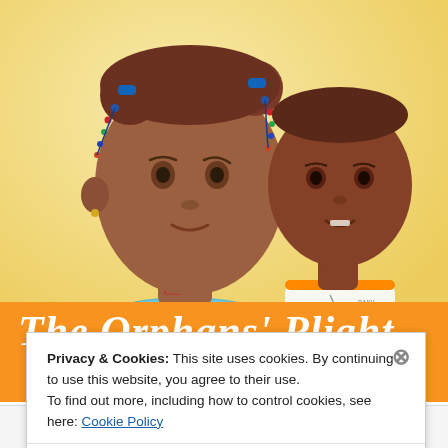[Figure (illustration): Painting of two African children — a girl with colorful hair beads wearing a blue frilled top with 'Clarita' written on her necklace, and a toddler in an orange-trimmed white bib. Yellow background.]
The Orphans' Plight
Privacy & Cookies: This site uses cookies. By continuing to use this website, you agree to their use.
To find out more, including how to control cookies, see here: Cookie Policy
Close and accept